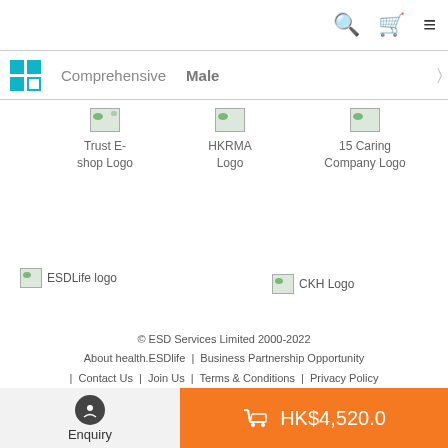Search | Cart | Menu
Comprehensive | Male | 全部保障 | 女性 | 全部 >
[Figure (logo): Trust E-shop Logo placeholder image]
[Figure (logo): HKRMA Logo placeholder image]
[Figure (logo): 15 Caring Company Logo placeholder image]
[Figure (logo): ESDLife logo placeholder image]
[Figure (logo): CKH Logo placeholder image]
© ESD Services Limited 2000-2022 | About health.ESDlife | Business Partnership Opportunity | Contact Us | Join Us | Terms & Conditions | Privacy Policy | Disclaimer
Enquiry
HK$4,520.0